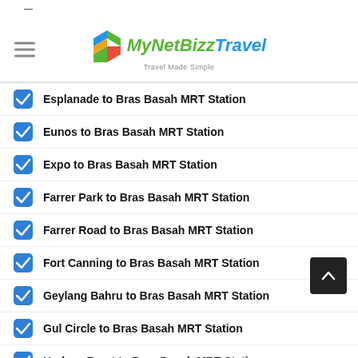MyNetBizzTravel — Travel Made Simple
Esplanade to Bras Basah MRT Station
Eunos to Bras Basah MRT Station
Expo to Bras Basah MRT Station
Farrer Park to Bras Basah MRT Station
Farrer Road to Bras Basah MRT Station
Fort Canning to Bras Basah MRT Station
Geylang Bahru to Bras Basah MRT Station
Gul Circle to Bras Basah MRT Station
HarbourFront to Bras Basah MRT Station
Haw Par Villa to Bras Basah MRT Station
Hillview to Bras Basah MRT Station